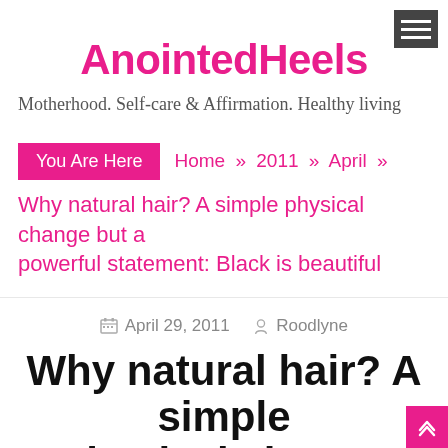AnointedHeels
Motherhood. Self-care & Affirmation. Healthy living
You Are Here  Home » 2011 » April »
Why natural hair? A simple physical change but a powerful statement: Black is beautiful
April 29, 2011  Roodlyne
Why natural hair? A simple physical change but a